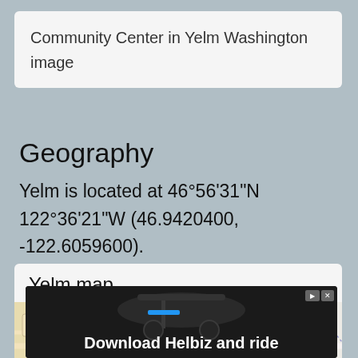Community Center in Yelm Washington image
Geography
Yelm is located at 46°56'31"N 122°36'21"W (46.9420400, -122.6059600).
[Figure (map): Yelm map showing Yelm Middle School area with zoom plus button]
[Figure (photo): Advertisement overlay: Download Helbiz and ride, showing a scooter image]